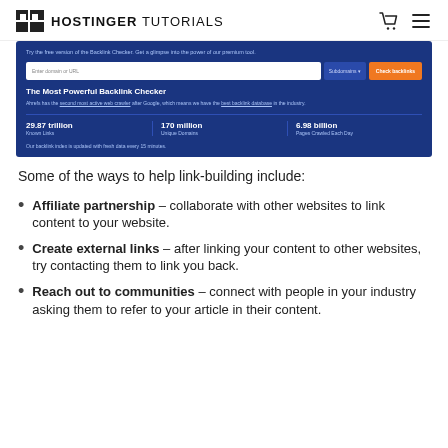HOSTINGER TUTORIALS
[Figure (screenshot): Screenshot of Ahrefs Backlink Checker tool page showing a search input, 'Subdomains' dropdown, 'Check backlinks' button, and stats: 29.87 trillion Known Links, 170 million Unique Domains, 6.98 billion Pages Crawled Each Day. Heading: The Most Powerful Backlink Checker.]
Some of the ways to help link-building include:
Affiliate partnership – collaborate with other websites to link content to your website.
Create external links – after linking your content to other websites, try contacting them to link you back.
Reach out to communities – connect with people in your industry asking them to refer to your article in their content.